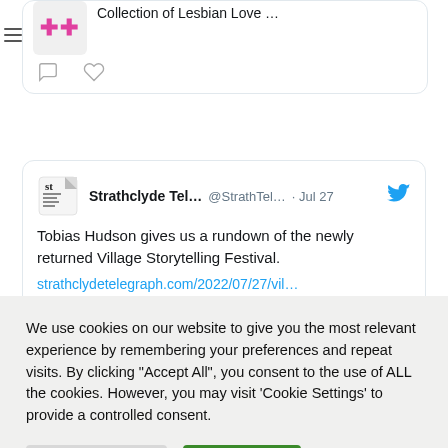[Figure (screenshot): Partial tweet card showing pink cross/plus icons and truncated text 'Collection of Lesbian Love ...' with comment and like icons below]
[Figure (screenshot): Tweet from Strathclyde Tel... (@StrathTel... · Jul 27) with newspaper logo and Twitter bird icon: 'Tobias Hudson gives us a rundown of the newly returned Village Storytelling Festival.' with link strathclydetelegraph.com/2022/07/27/vil...]
We use cookies on our website to give you the most relevant experience by remembering your preferences and repeat visits. By clicking "Accept All", you consent to the use of ALL the cookies. However, you may visit 'Cookie Settings' to provide a controlled consent.
Cookie Settings
Accept All